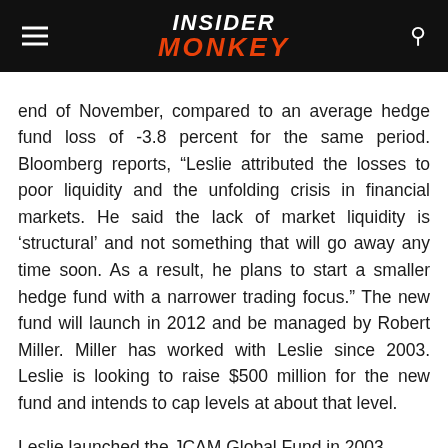INSIDER MONKEY
end of November, compared to an average hedge fund loss of -3.8 percent for the same period. Bloomberg reports, “Leslie attributed the losses to poor liquidity and the unfolding crisis in financial markets. He said the lack of market liquidity is ‘structural’ and not something that will go away any time soon. As a result, he plans to start a smaller hedge fund with a narrower trading focus.” The new fund will launch in 2012 and be managed by Robert Miller. Miller has worked with Leslie since 2003. Leslie is looking to raise $500 million for the new fund and intends to cap levels at about that level.
Leslie launched the JCAM Global Fund in 2003,